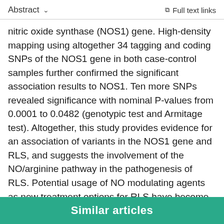Abstract  ✓  Full text links
nitric oxide synthase (NOS1) gene. High-density mapping using altogether 34 tagging and coding SNPs of the NOS1 gene in both case-control samples further confirmed the significant association results to NOS1. Ten more SNPs revealed significance with nominal P-values from 0.0001 to 0.0482 (genotypic test and Armitage test). Altogether, this study provides evidence for an association of variants in the NOS1 gene and RLS, and suggests the involvement of the NO/arginine pathway in the pathogenesis of RLS. Potential usage of NO modulating agents as new treatment options for RLS have become a challenging aspect for future research of this disorder.
2007 Movement Disorder Society
Similar articles